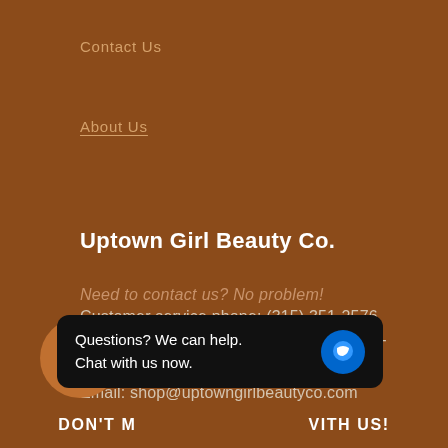Contact Us
About Us
Uptown Girl Beauty Co.
Need to contact us? No problem!
Business Hours: Mon-Fri, 6PM-10PM EST
Email: shop@uptowngirlbeautyco.com
Customer service phone: (315) 351-2576
Based in Brooklyn, NY & Utica, NY
[Figure (screenshot): Chat widget overlay with shopping bag icon and 'Questions? We can help. Chat with us now.' message bubble]
DON'T M... WITH US!